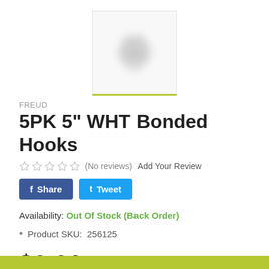[Figure (photo): Blurred/pixelated product image of bonded hooks shown in a white square box with a green/yellow-green bottom border]
FREUD
5PK 5" WHT Bonded Hooks
☆ ☆ ☆ ☆ ☆ (No reviews)  Add Your Review
f Share   t Tweet
Availability: Out Of Stock (Back Order)
Product SKU:  256125
$0.01